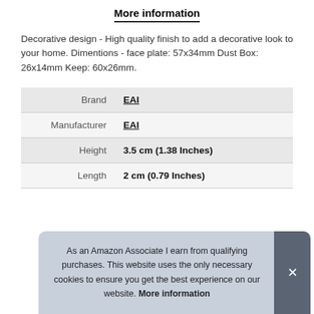More information
Decorative design - High quality finish to add a decorative look to your home. Dimentions - face plate: 57x34mm Dust Box: 26x14mm Keep: 60x26mm.
| Brand | EAI |
| Manufacturer | EAI |
| Height | 3.5 cm (1.38 Inches) |
| Length | 2 cm (0.79 Inches) |
As an Amazon Associate I earn from qualifying purchases. This website uses the only necessary cookies to ensure you get the best experience on our website. More information